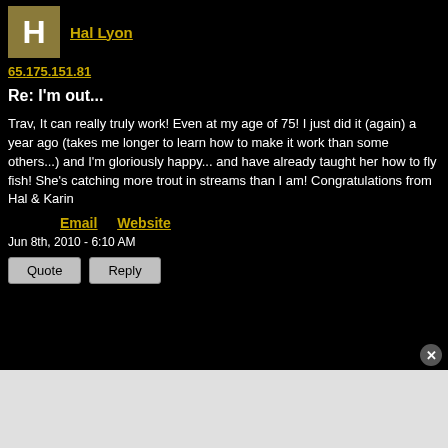H
Hal Lyon
65.175.151.81
Re: I'm out...
Trav, It can really truly work! Even at my age of 75! I just did it (again) a year ago (takes me longer to learn how to make it work than some others...) and I'm gloriously happy... and have already taught her how to fly fish! She's catching more trout in streams than I am! Congratulations from
Hal & Karin
Email
Website
Jun 8th, 2010 - 6:10 AM
Quote
Reply